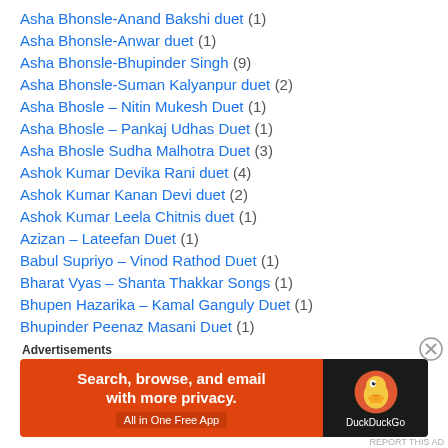Asha Bhonsle-Anand Bakshi duet (1)
Asha Bhonsle-Anwar duet (1)
Asha Bhonsle-Bhupinder Singh (9)
Asha Bhonsle-Suman Kalyanpur duet (2)
Asha Bhosle – Nitin Mukesh Duet (1)
Asha Bhosle – Pankaj Udhas Duet (1)
Asha Bhosle Sudha Malhotra Duet (3)
Ashok Kumar Devika Rani duet (4)
Ashok Kumar Kanan Devi duet (2)
Ashok Kumar Leela Chitnis duet (1)
Azizan – Lateefan Duet (1)
Babul Supriyo – Vinod Rathod Duet (1)
Bharat Vyas – Shanta Thakkar Songs (1)
Bhupen Hazarika – Kamal Ganguly Duet (1)
Bhupinder Peenaz Masani Duet (1)
Bhupinder Singh Suresh Wadkar duet (1)
[Figure (screenshot): DuckDuckGo advertisement banner with orange background saying 'Search, browse, and email with more privacy. All in One Free App' and duck logo on dark background]
Advertisements